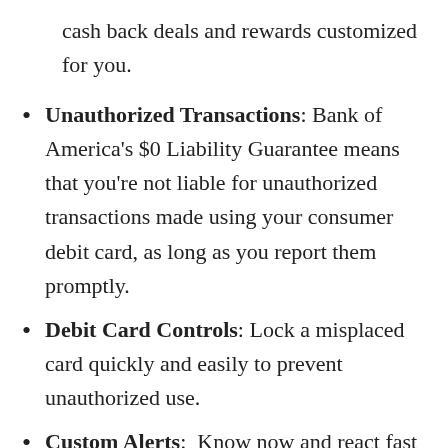cash back deals and rewards customized for you.
Unauthorized Transactions: Bank of America's $0 Liability Guarantee means that you're not liable for unauthorized transactions made using your consumer debit card, as long as you report them promptly.
Debit Card Controls: Lock a misplaced card quickly and easily to prevent unauthorized use.
Custom Alerts:  Know now and react fast to important account changes.  You can set custom alerts via email or text for things like a low balance, a pending